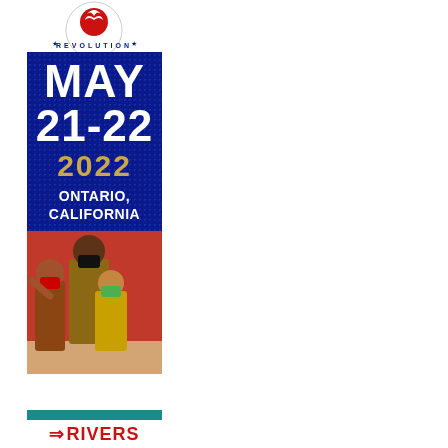[Figure (infographic): Revolution convention poster showing circular Revolution logo at top, large white text MAY 21-22, gold text 2022, white text ONTARIO, CALIFORNIA on dark blue dotted background, with photo of masked attendees at bottom]
[Figure (logo): Rivers logo banner at bottom - teal top strip with white panel below showing red Rivers text with arrow icon]